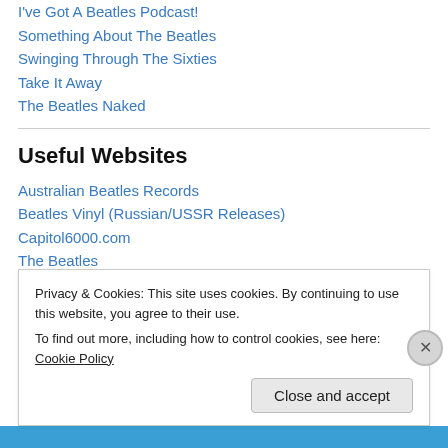I've Got A Beatles Podcast!
Something About The Beatles
Swinging Through The Sixties
Take It Away
The Beatles Naked
Useful Websites
Australian Beatles Records
Beatles Vinyl (Russian/USSR Releases)
Capitol6000.com
The Beatles
Privacy & Cookies: This site uses cookies. By continuing to use this website, you agree to their use.
To find out more, including how to control cookies, see here: Cookie Policy
Close and accept